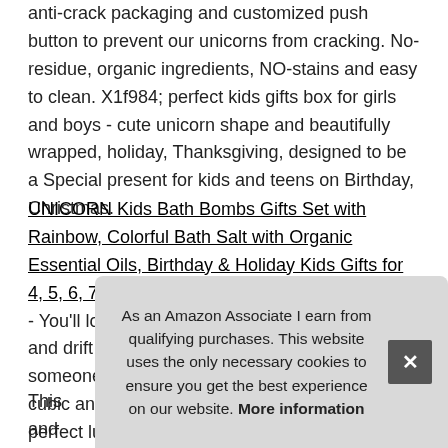anti-crack packaging and customized push button to prevent our unicorns from cracking. No-residue, organic ingredients, NO-stains and easy to clean. X1f984; perfect kids gifts box for girls and boys - cute unicorn shape and beautifully wrapped, holiday, Thanksgiving, designed to be a Special present for kids and teens on Birthday, Christmas.
UNICORN Kids Bath Bombs Gifts Set with Rainbow, Colorful Bath Salt with Organic Essential Oils, Birthday & Holiday Kids Gifts for 4, 5, 6, 7, or 8 Year Old Girls, Boys & Teens #ad - You'll love the way it helps you relax in the bath and drift off to sleep in bed. Perfect gifts: if someone is already a bath bomb fan, vibrant cubic and 3D round bath bombs, this is the perfect luxurious gift! If not, then she or he will be one of bath bomb fans... but...
This... and...
As an Amazon Associate I earn from qualifying purchases. This website uses the only necessary cookies to ensure you get the best experience on our website. More information